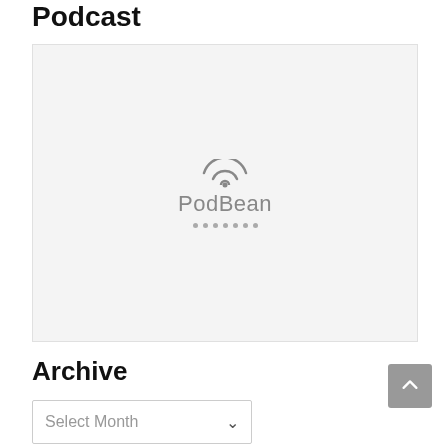Podcast
[Figure (screenshot): PodBean podcast player embed placeholder with PodBean logo (wifi arc icon and 'PodBean' text) centered on a light gray background with loading dots beneath]
Archive
[Figure (screenshot): Dropdown select box labeled 'Select Month' with a downward chevron arrow, on white background with gray border]